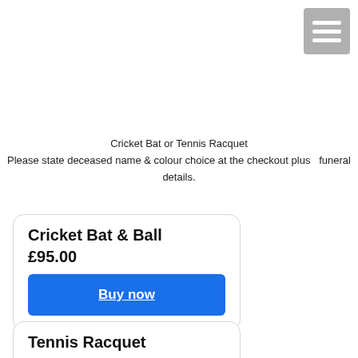[Figure (screenshot): Hamburger menu icon button in grey with three white horizontal lines]
Cricket Bat or Tennis Racquet
Please state deceased name & colour choice at the checkout plus  funeral details.
Cricket Bat & Ball
£95.00
Buy now
Tennis Racquet